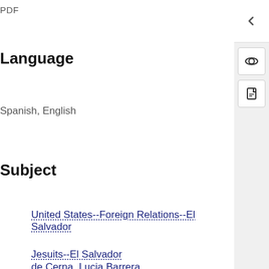PDF
Language
Spanish, English
Subject
United States--Foreign Relations--El Salvador
Jesuits--El Salvador
Assassination--Investigation--El Salvador
de Cerna, Lucia Barrera
McGovern, James P., 1959-
Identifier